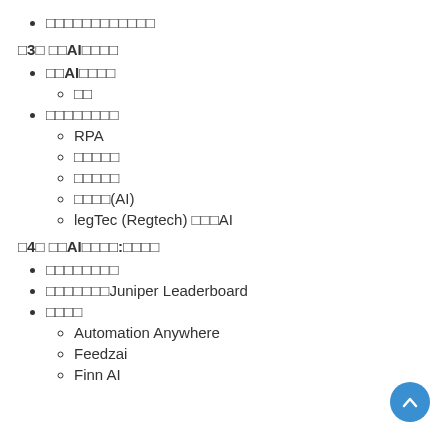□□□□□□□□□□□□
□3□ □□AI□□□□
□□AI□□□□
□□
□□□□□□□□
RPA
□□□□□
□□□□□
□□□□(AI)
legTec (Regtech) □□□AI
□4□ □□AI□□□□:□□□□
□□□□□□□□
□□□□□□□Juniper Leaderboard
□□□□
Automation Anywhere
Feedzai
Finn AI